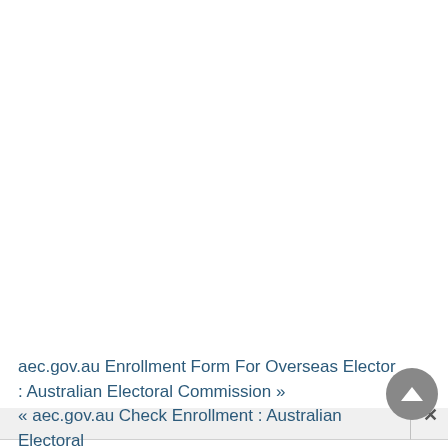[Figure (screenshot): Browser UI screenshot showing a dialog/popup bar with a close (×) button on the right side, on a light gray background strip]
aec.gov.au Enrollment Form For Overseas Elector : Australian Electoral Commission »
« aec.gov.au Check Enrollment : Australian Electoral